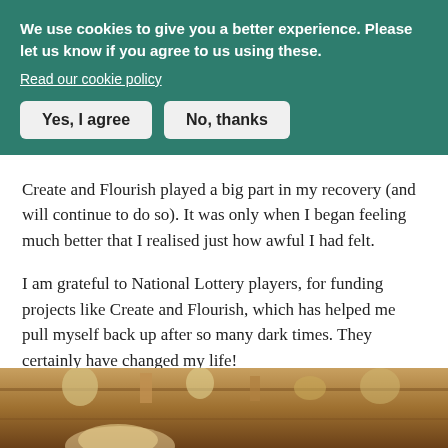We use cookies to give you a better experience. Please let us know if you agree to us using these.
Read our cookie policy
Yes, I agree
No, thanks
Create and Flourish played a big part in my recovery (and will continue to do so). It was only when I began feeling much better that I realised just how awful I had felt.
I am grateful to National Lottery players, for funding projects like Create and Flourish, which has helped me pull myself back up after so many dark times. They certainly have changed my life!
[Figure (photo): Bottom portion of a photograph showing a wooden display cabinet or sideboard with decorative objects, with a person partially visible at the bottom of the frame.]